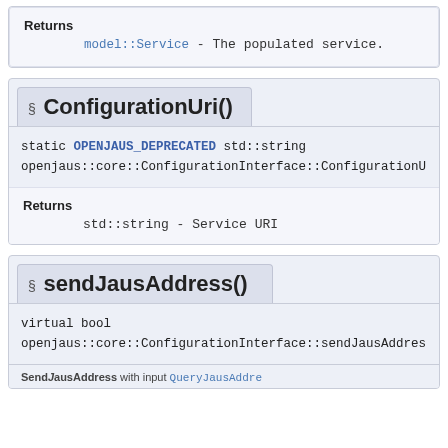Returns
model::Service - The populated service.
§ ConfigurationUri()
static OPENJAUS_DEPRECATED std::string openjaus::core::ConfigurationInterface::ConfigurationUri ( )  inline
Returns
std::string - Service URI
§ sendJausAddress()
virtual bool openjaus::core::ConfigurationInterface::sendJausAddress ( QueryJa
SendJausAddress with input QueryJausAddress